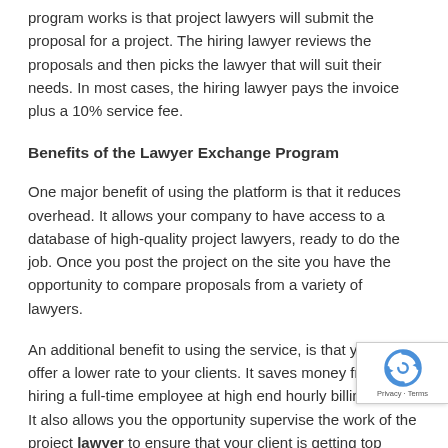program works is that project lawyers will submit the proposal for a project. The hiring lawyer reviews the proposals and then picks the lawyer that will suit their needs. In most cases, the hiring lawyer pays the invoice plus a 10% service fee.
Benefits of the Lawyer Exchange Program
One major benefit of using the platform is that it reduces overhead. It allows your company to have access to a database of high-quality project lawyers, ready to do the job. Once you post the project on the site you have the opportunity to compare proposals from a variety of lawyers.
An additional benefit to using the service, is that you can offer a lower rate to your clients. It saves money from hiring a full-time employee at high end hourly billing rates. It also allows you the opportunity supervise the work of the project lawyer to ensure that your client is getting top quality service.
If you are a project lawyer looking for work, a platform like